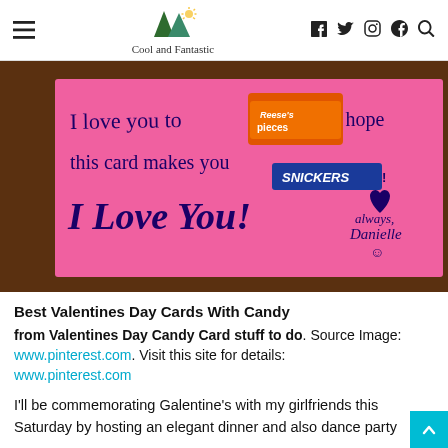Cool and Fantastic
[Figure (photo): Pink handwritten Valentine's Day candy card with Reese's Pieces and Snickers bars attached, reading 'I love you to [Reese's Pieces] and I hope this card makes you [Snickers]! I Love You! always, Danielle :)']
Best Valentines Day Cards With Candy
from Valentines Day Candy Card stuff to do. Source Image: www.pinterest.com. Visit this site for details: www.pinterest.com
I'll be commemorating Galentine's with my girlfriends this Saturday by hosting an elegant dinner and also dance party